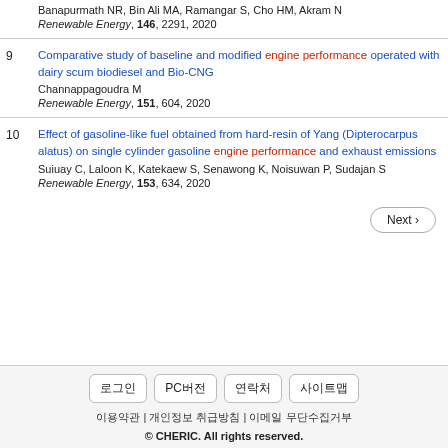Banapurmath NR, Bin Ali MA, Ramangar S, Cho HM, Akram N. Renewable Energy, 146, 2291, 2020
9. Comparative study of baseline and modified engine performance operated with dairy scum biodiesel and Bio-CNG. Channappagoudra M. Renewable Energy, 151, 604, 2020
10. Effect of gasoline-like fuel obtained from hard-resin of Yang (Dipterocarpus alatus) on single cylinder gasoline engine performance and exhaust emissions. Suiuay C, Laloon K, Katekaew S, Senawong K, Noisuwan P, Sudajan S. Renewable Energy, 153, 634, 2020
Next ›
로그인 | PC버전 | 연락처 | 사이트맵 | 이용약관 | 개인정보 취급방침 | 이메일 무단수집거부 | © CHERIC. All rights reserved.